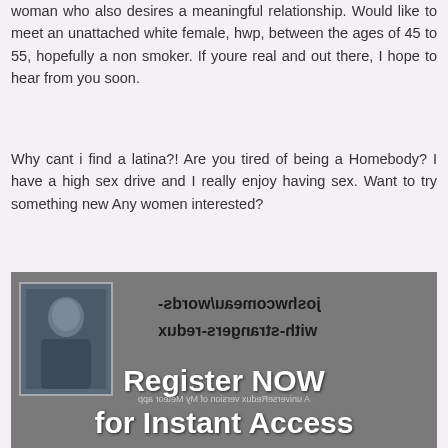woman who also desires a meaningful relationship. Would like to meet an unattached white female, hwp, between the ages of 45 to 55, hopefully a non smoker. If youre real and out there, I hope to hear from you soon.
Why cant i find a latina?! Are you tired of being a Homebody? I have a high sex drive and I really enjoy having sex. Want to try something new Any women interested?
[Figure (screenshot): An advertisement banner with a profile photo of a person on the left, mirrored/reversed text reading 'joshwcomeau/words-with-strangers-redux' and 'A universeRedux version of My Meteor app', and overlay text 'Register NOW for Instant Access']